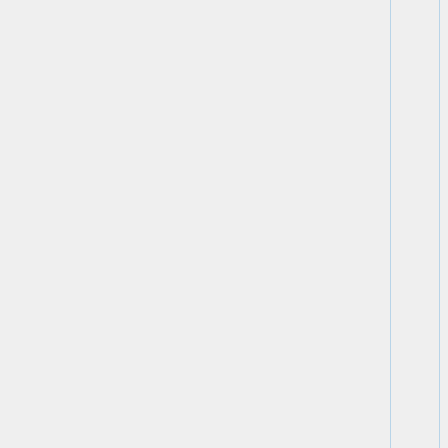blindness immunity by 10–40%cTL:100% maximum sight range by 1–5cTS:log and increase existing infravision, and heightened senses range by 0,3–2,3cTS:log,0,2, At talent level 5, each time you hit a target you gain telepath